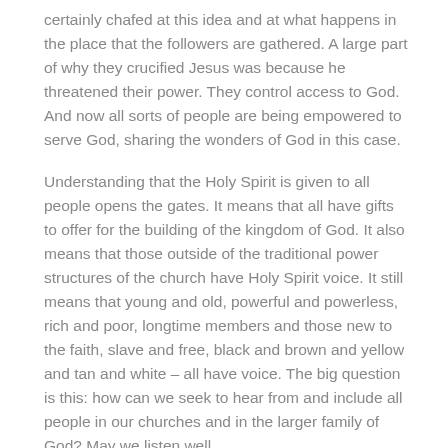certainly chafed at this idea and at what happens in the place that the followers are gathered. A large part of why they crucified Jesus was because he threatened their power. They control access to God. And now all sorts of people are being empowered to serve God, sharing the wonders of God in this case.
Understanding that the Holy Spirit is given to all people opens the gates. It means that all have gifts to offer for the building of the kingdom of God. It also means that those outside of the traditional power structures of the church have Holy Spirit voice. It still means that young and old, powerful and powerless, rich and poor, longtime members and those new to the faith, slave and free, black and brown and yellow and tan and white – all have voice. The big question is this: how can we seek to hear from and include all people in our churches and in the larger family of God? May we listen well.